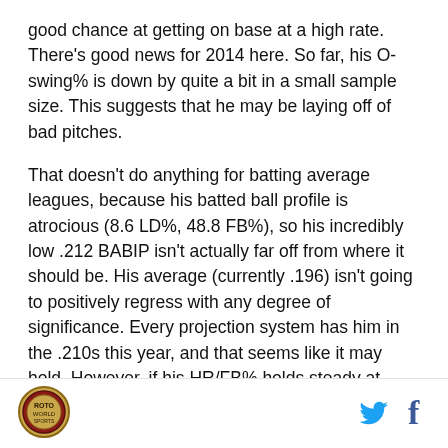good chance at getting on base at a high rate. There's good news for 2014 here. So far, his O-swing% is down by quite a bit in a small sample size. This suggests that he may be laying off of bad pitches.
That doesn't do anything for batting average leagues, because his batted ball profile is atrocious (8.6 LD%, 48.8 FB%), so his incredibly low .212 BABIP isn't actually far off from where it should be. His average (currently .196) isn't going to positively regress with any degree of significance. Every projection system has him in the .210s this year, and that seems like it may hold. However, if his HR/FB% holds steady at around 11-12%, we could see a slight uptick in home
[Figure (logo): Circular sports logo in the bottom left corner]
[Figure (logo): Twitter bird icon]
[Figure (logo): Facebook f icon]